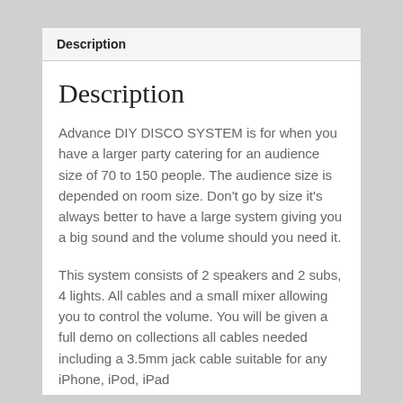Description
Description
Advance DIY DISCO SYSTEM is for when you have a larger party catering for an audience size of 70 to 150 people. The audience size is depended on room size. Don't go by size it's always better to have a large system giving you a big sound and the volume should you need it.
This system consists of 2 speakers and 2 subs, 4 lights. All cables and a small mixer allowing you to control the volume. You will be given a full demo on collections all cables needed including a 3.5mm jack cable suitable for any iPhone, iPod, iPad